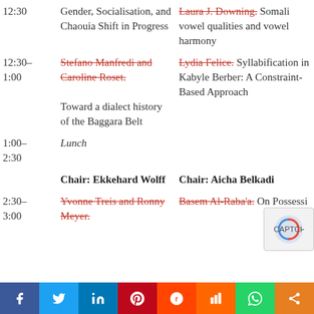12:30 | Gender, Socialisation, and Chaouia Shift in Progress | Laura J. Downing. Somali vowel qualities and vowel harmony
12:30–1:00 | Stefano Manfredi and Caroline Roset. Toward a dialect history of the Baggara Belt | Lydia Felice. Syllabification in Kabyle Berber: A Constraint-Based Approach
1:00– 2:30 Lunch
Chair: Ekkehard Wolff | Chair: Aicha Belkadi
2:30–3:00 | Yvonne Treis and Ronny Meyer. | Basem Al-Raba'a. On Possessi...